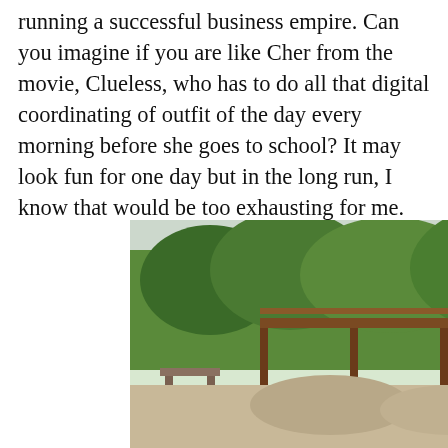running a successful business empire. Can you imagine if you are like Cher from the movie, Clueless, who has to do all that digital coordinating of outfit of the day every morning before she goes to school? It may look fun for one day but in the long run, I know that would be too exhausting for me.
[Figure (photo): A woman in a pink ruffled dress standing on rocks near a fountain, with lush green trees and a wooden pergola structure in the background. The setting appears to be an outdoor park or garden.]